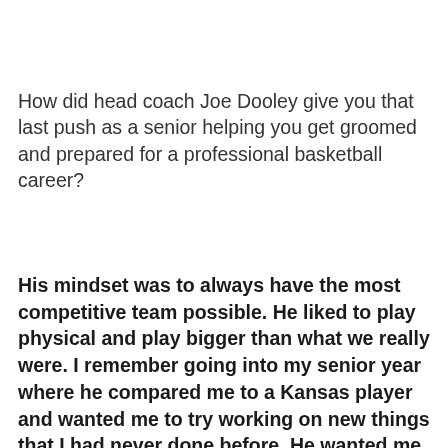How did head coach Joe Dooley give you that last push as a senior helping you get groomed and prepared for a professional basketball career?
His mindset was to always have the most competitive team possible. He liked to play physical and play bigger than what we really were. I remember going into my senior year where he compared me to a Kansas player and wanted me to try working on new things that I had never done before. He wanted me to